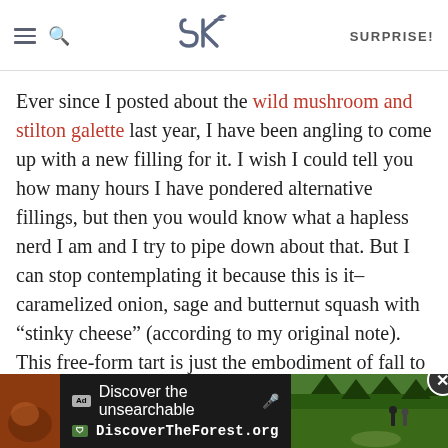SK [logo] SURPRISE!
Ever since I posted about the wild mushroom and stilton galette last year, I have been angling to come up with a new filling for it. I wish I could tell you how many hours I have pondered alternative fillings, but then you would know what a hapless nerd I am and I try to pipe down about that. But I can stop contemplating it because this is it– caramelized onion, sage and butternut squash with “stinky cheese” (according to my original note). This free-form tart is just the embodiment of fall to me: weightier than a tomato tart, lighter than a thousand mushroom quiche and absolutely glorious with a good, rich stout.
[Figure (screenshot): Advertisement banner at bottom: 'Discover the unsearchable' with DiscoverTheForest.org URL, forest background photo with hikers, Ad and forest service badges, close button.]